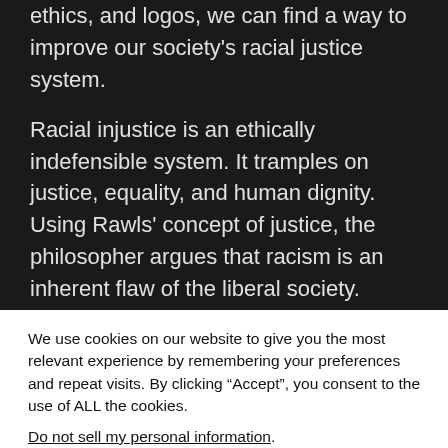ethics, and logos, we can find a way to improve our society's racial justice system.
Racial injustice is an ethically indefensible system. It tramples on justice, equality, and human dignity. Using Rawls' concept of justice, the philosopher argues that racism is an inherent flaw of the liberal society. Likewise, many scholars have identified institutional racism as a problem of Western society that is not easily remedied. However, such a view fails to address the persistent disadvantages of minority groups in the West.
We use cookies on our website to give you the most relevant experience by remembering your preferences and repeat visits. By clicking “Accept”, you consent to the use of ALL the cookies.
Do not sell my personal information.